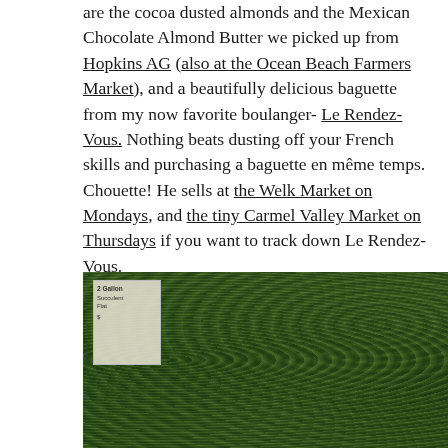are the cocoa dusted almonds and the Mexican Chocolate Almond Butter we picked up from Hopkins AG (also at the Ocean Beach Farmers Market), and a beautifully delicious baguette from my now favorite boulanger- Le Rendez-Vous. Nothing beats dusting off your French skills and purchasing a baguette en même temps. Chouette! He sells at the Welk Market on Mondays, and the tiny Carmel Valley Market on Thursdays if you want to track down Le Rendez-Vous.
[Figure (photo): A tray of green succulent plants densely packed together, viewed from above. A small price/info sign is visible in the upper left corner of the tray.]